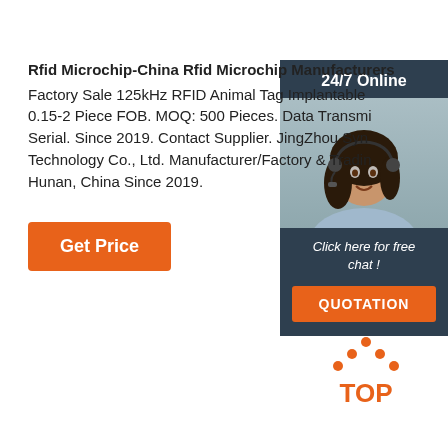Rfid Microchip-China Rfid Microchip Manufacturers
Factory Sale 125kHz RFID Animal Tag Implantable 0.15-2 Piece FOB. MOQ: 500 Pieces. Data Transmi Serial. Since 2019. Contact Supplier. JingZhou Syn Technology Co., Ltd. Manufacturer/Factory & Tradin Hunan, China Since 2019.
Get Price
24/7 Online
[Figure (photo): Woman with headset, customer service agent]
Click here for free chat !
QUOTATION
[Figure (logo): TOP logo with orange dots forming a triangle above the word TOP]